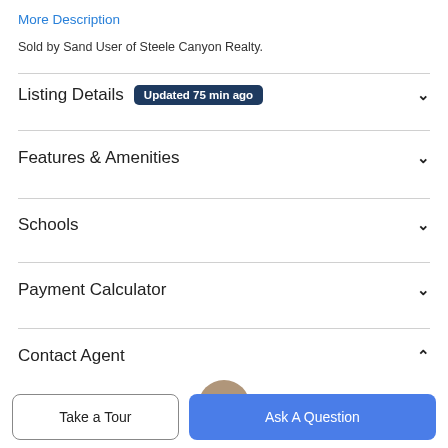More Description
Sold by Sand User of Steele Canyon Realty.
Listing Details  Updated 75 min ago
Features & Amenities
Schools
Payment Calculator
Contact Agent
[Figure (photo): Agent profile photo circle]
Take a Tour
Ask A Question